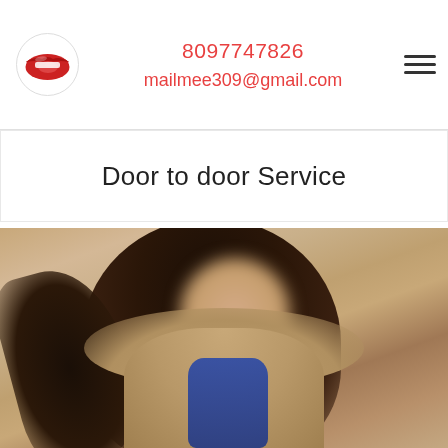[Figure (logo): Red lips logo icon in a circular border]
8097747826
mailmee309@gmail.com
Door to door Service
[Figure (photo): Photo of a woman with long dark brown highlighted hair, face blurred, wearing a blue top, posed in an indoor setting with beige walls]